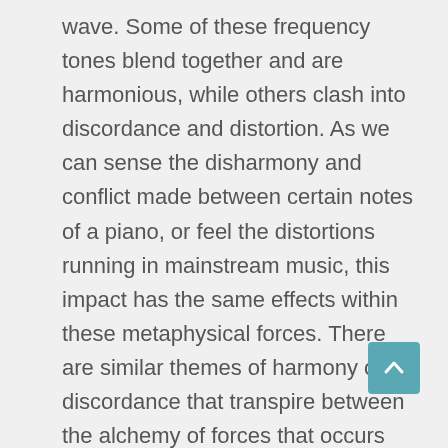wave. Some of these frequency tones blend together and are harmonious, while others clash into discordance and distortion. As we can sense the disharmony and conflict made between certain notes of a piano, or feel the distortions running in mainstream music, this impact has the same effects within these metaphysical forces. There are similar themes of harmony or discordance that transpire between the alchemy of forces that occurs within the various constellations of the zodiac, the twelve planets and various celestial bodies that have a great effect on human beings. These instruction sets are inherently recorded in the spiritual blueprint and design of every human being on the earth.